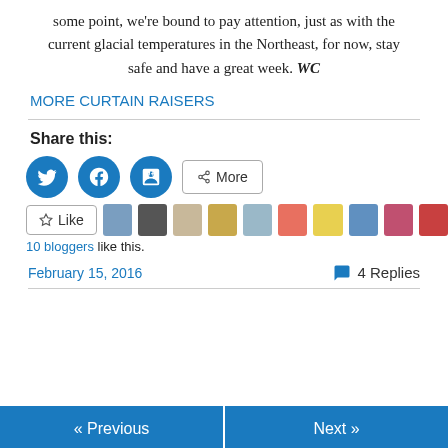some point, we're bound to pay attention, just as with the current glacial temperatures in the Northeast, for now, stay safe and have a great week. WC
MORE CURTAIN RAISERS
Share this:
[Figure (infographic): Social share buttons: Twitter, Facebook, LinkedIn circles and a More button]
[Figure (infographic): Like button and 10 blogger avatars]
10 bloggers like this.
February 15, 2016   4 Replies
« Previous   Next »